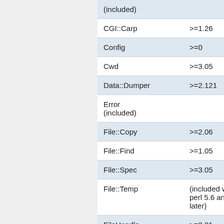| Module | Version |
| --- | --- |
| (included) |  |
| CGI::Carp | >=1.26 |
| Config | >=0 |
| Cwd | >=3.05 |
| Data::Dumper | >=2.121 |
| Error
(included) |  |
| File::Copy | >=2.06 |
| File::Find | >=1.05 |
| File::Spec | >=3.05 |
| File::Temp | (included with perl 5.6 and later) |
| FileHandle | >=2.01 |
| IO::File | >=1.10 |
| Text::Diff
(included) |  |